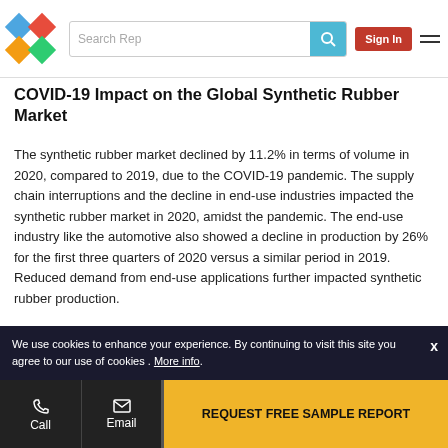Search Rep | Sign In
COVID-19 Impact on the Global Synthetic Rubber Market
The synthetic rubber market declined by 11.2% in terms of volume in 2020, compared to 2019, due to the COVID-19 pandemic. The supply chain interruptions and the decline in end-use industries impacted the synthetic rubber market in 2020, amidst the pandemic. The end-use industry like the automotive also showed a decline in production by 26% for the first three quarters of 2020 versus a similar period in 2019. Reduced demand from end-use applications further impacted synthetic rubber production.
We use cookies to enhance your experience. By continuing to visit this site you agree to our use of cookies . More info.
REQUEST FREE SAMPLE REPORT